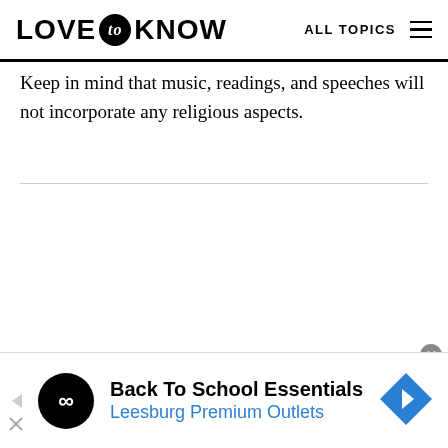LOVE to KNOW  ALL TOPICS
Keep in mind that music, readings, and speeches will not incorporate any religious aspects.
[Figure (infographic): Advertisement banner: Back To School Essentials - Leesburg Premium Outlets with logo and navigation arrow icon]